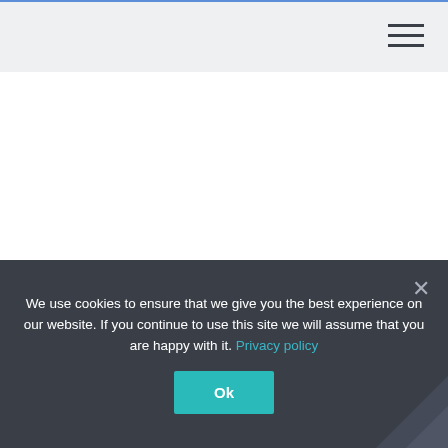We use cookies to ensure that we give you the best experience on our website. If you continue to use this site we will assume that you are happy with it. Privacy policy
Ok